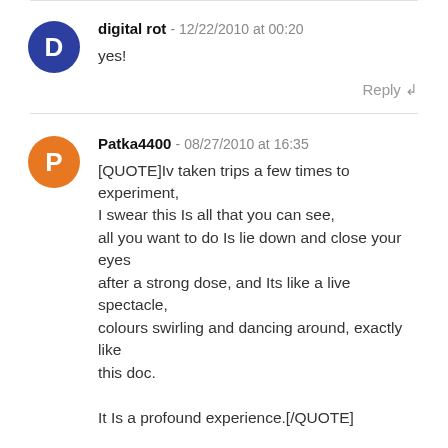digital rot - 12/22/2010 at 00:20
yes!
Reply ↲
Patka4400 - 08/27/2010 at 16:35
[QUOTE]Iv taken trips a few times to experiment, I swear this Is all that you can see, all you want to do Is lie down and close your eyes after a strong dose, and Its like a live spectacle, colours swirling and dancing around, exactly like this doc.

It Is a profound experience.[/QUOTE]

I know exactly what you mean. Since I'm an epileptic and have had brain damage (LOL, similar to Nikola Tesla, my hero), I see that stuff all the